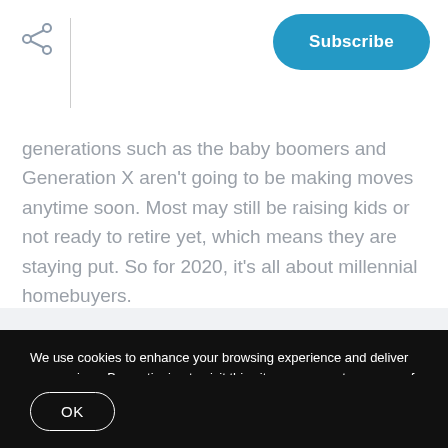Subscribe
generations such as the baby boomers and Generation X aren't going to be making moves anytime soon. Most may still be raising kids or not ready to retire yet, which means they are staying put. So for 2020, it's all about millennial homebuyers.
We use cookies to enhance your browsing experience and deliver our services. By continuing to visit this site, you agree to our use of cookies.
OK